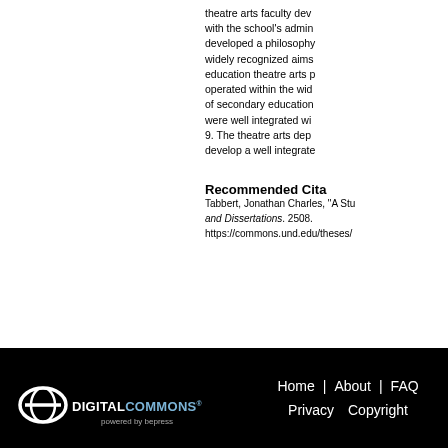theatre arts faculty dev with the school's admin developed a philosophy widely recognized aims education theatre arts p operated within the wid of secondary education were well integrated wi 9. The theatre arts dep develop a well integrate
Recommended Cita
Tabbert, Jonathan Charles, "A Stu and Dissertations. 2508. https://commons.und.edu/theses/
[Figure (logo): DigitalCommons powered by bepress logo in white on black background]
Home | About | FAQ  Privacy  Copyright